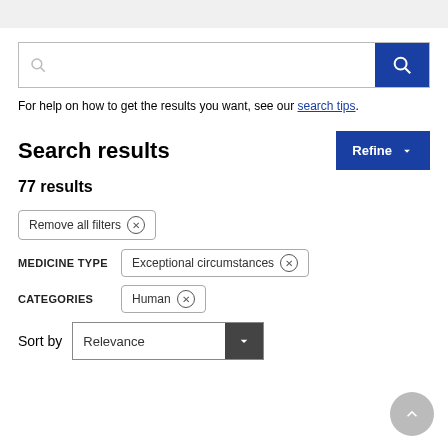For help on how to get the results you want, see our search tips.
Search results
77 results
Remove all filters ⊗
MEDICINE TYPE   Exceptional circumstances ⊗
CATEGORIES   Human ⊗
Sort by   Relevance